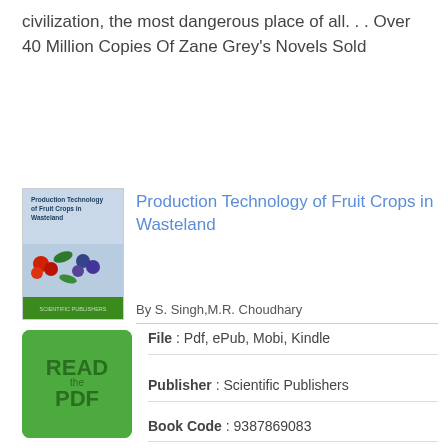civilization, the most dangerous place of all. . . Over 40 Million Copies Of Zane Grey's Novels Sold
Production Technology of Fruit Crops in Wasteland
By S. Singh,M.R. Choudhary
[Figure (illustration): Book cover for Production Technology of Fruit Crops in Wasteland showing fruit images and green background]
[Figure (illustration): Green button with text READ PDF]
File : Pdf, ePub, Mobi, Kindle
Publisher : Scientific Publishers
Book Code : 9387869083
Total of Pages : 349